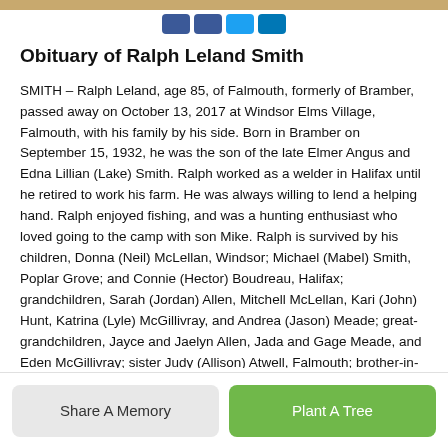Obituary of Ralph Leland Smith
SMITH – Ralph Leland, age 85, of Falmouth, formerly of Bramber, passed away on October 13, 2017 at Windsor Elms Village, Falmouth, with his family by his side. Born in Bramber on September 15, 1932, he was the son of the late Elmer Angus and Edna Lillian (Lake) Smith. Ralph worked as a welder in Halifax until he retired to work his farm. He was always willing to lend a helping hand. Ralph enjoyed fishing, and was a hunting enthusiast who loved going to the camp with son Mike. Ralph is survived by his children, Donna (Neil) McLellan, Windsor; Michael (Mabel) Smith, Poplar Grove; and Connie (Hector) Boudreau, Halifax; grandchildren, Sarah (Jordan) Allen, Mitchell McLellan, Kari (John) Hunt, Katrina (Lyle) McGillivray, and Andrea (Jason) Meade; great-grandchildren, Jayce and Jaelyn Allen, Jada and Gage Meade, and Eden McGillivray; sister Judy (Allison) Atwell, Falmouth; brother-in-law Rod Card, Bedford; and several nieces and nephews. Besides his parents, Ralph was also predeceased by his wife Janet
Share A Memory | Plant A Tree